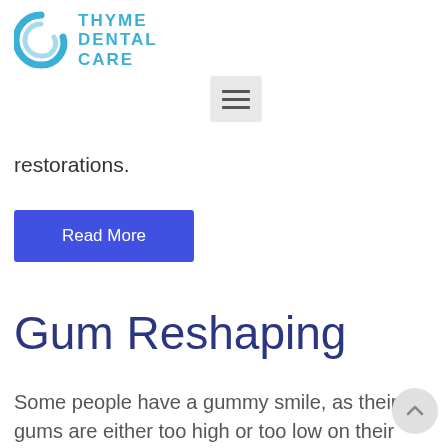[Figure (logo): Thyme Dental Care logo with teal circular icon and blue text]
[Figure (other): Hamburger menu icon button with three horizontal lines on grey background]
restorations.
Read More
Gum Reshaping
Some people have a gummy smile, as their gums are either too high or too low on their teeth. The